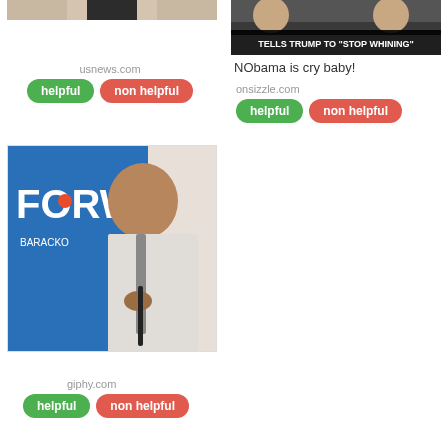[Figure (photo): Partial photo of a person in suit, cropped at top]
[Figure (photo): Meme image with text overlay: TELLS TRUMP TO "STOP WHINING"]
NObama is cry baby!
usnews.com
helpful
non helpful
onsizzle.com
helpful
non helpful
[Figure (photo): Photo of Barack Obama holding a microphone in front of a blue Forward campaign banner]
giphy.com
helpful
non helpful